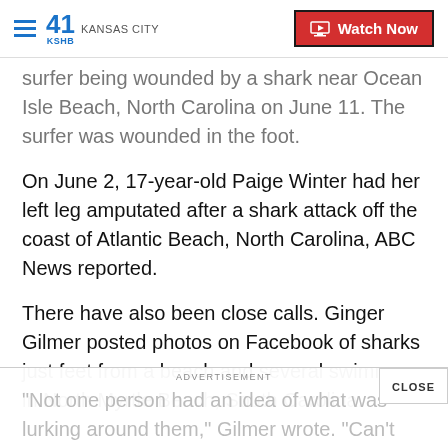41 KSHB Kansas City | Watch Now
surfer being wounded by a shark near Ocean Isle Beach, North Carolina on June 11. The surfer was wounded in the foot.
On June 2, 17-year-old Paige Winter had her left leg amputated after a shark attack off the coast of Atlantic Beach, North Carolina, ABC News reported.
There have also been close calls. Ginger Gilmer posted photos on Facebook of sharks just feet from a beach and several swimmers in North Myrtle Beach, South Carolina.
“Not one person had an idea of what was lurking around them,” Gilmer wrote. “Can’t see the bottom